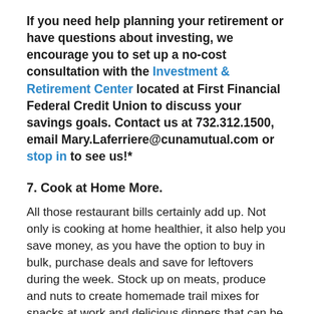If you need help planning your retirement or have questions about investing, we encourage you to set up a no-cost consultation with the Investment & Retirement Center located at First Financial Federal Credit Union to discuss your savings goals. Contact us at 732.312.1500, email Mary.Laferriere@cunamutual.com or stop in to see us!*
7. Cook at Home More.
All those restaurant bills certainly add up. Not only is cooking at home healthier, it also help you save money, as you have the option to buy in bulk, purchase deals and save for leftovers during the week. Stock up on meats, produce and nuts to create homemade trail mixes for snacks at work and delicious dinners that can be